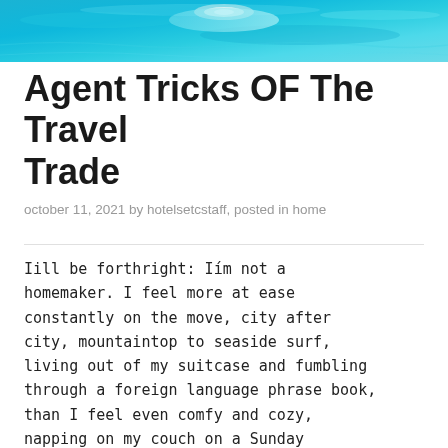[Figure (photo): Aerial view of tropical turquoise ocean water with a small sandy island or sandbar visible, shot from above.]
Agent Tricks OF The Travel Trade
october 11, 2021 by hotelsetcstaff, posted in home
Iill be forthright: Iím not a homemaker. I feel more at ease constantly on the move, city after city, mountaintop to seaside surf, living out of my suitcase and fumbling through a foreign language phrase book, than I feel even comfy and cozy, napping on my couch on a Sunday afternoon. Perhaps Iím a little crazy, but I find it thrilling sprinting to